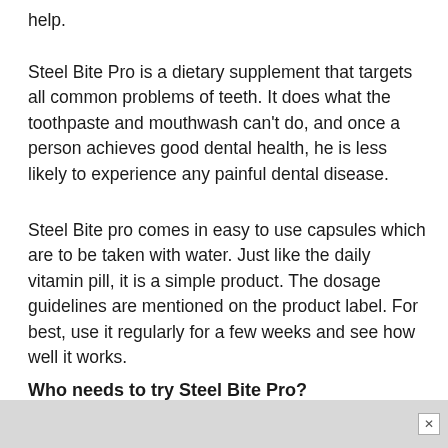help.
Steel Bite Pro is a dietary supplement that targets all common problems of teeth. It does what the toothpaste and mouthwash can't do, and once a person achieves good dental health, he is less likely to experience any painful dental disease.
Steel Bite pro comes in easy to use capsules which are to be taken with water. Just like the daily vitamin pill, it is a simple product. The dosage guidelines are mentioned on the product label. For best, use it regularly for a few weeks and see how well it works.
Who needs to try Steel Bite Pro?
Steel Bite Pro reviews suggest that this formula particularly